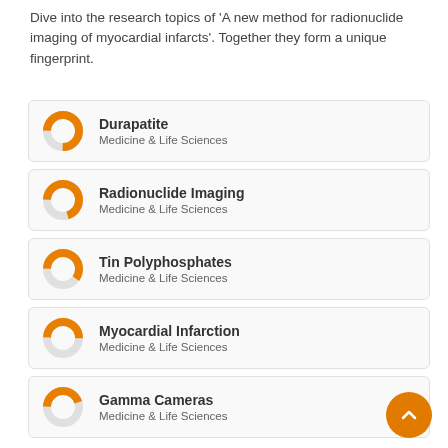Dive into the research topics of 'A new method for radionuclide imaging of myocardial infarcts'. Together they form a unique fingerprint.
[Figure (donut-chart): Donut chart icon for Durapatite, orange fill approximately 75%]
[Figure (donut-chart): Donut chart icon for Radionuclide Imaging, orange fill approximately 70%]
[Figure (donut-chart): Donut chart icon for Tin Polyphosphates, orange fill approximately 60%]
[Figure (donut-chart): Donut chart icon for Myocardial Infarction, orange fill approximately 50%]
[Figure (donut-chart): Donut chart icon for Gamma Cameras, orange fill approximately 45%]